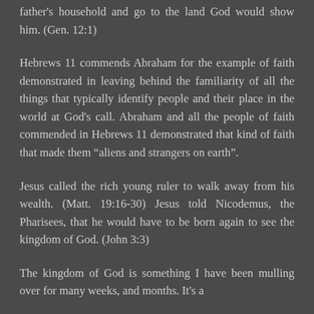father's household and go to the land God would show him. (Gen. 12:1)
Hebrews 11 commends Abraham for the example of faith demonstrated in leaving behind the familiarity of all the things that typically identify people and their place in the world at God's call. Abraham and all the people of faith commended in Hebrews 11 demonstrated that kind of faith that made them “aliens and strangers on earth”.
Jesus called the rich young ruler to walk away from his wealth. (Matt. 19:16-30) Jesus told Nicodemus, the Pharisees, that he would have to be born again to see the kingdom of God. (John 3:3)
The kingdom of God is something I have been mulling over for many weeks, and months. It’s a